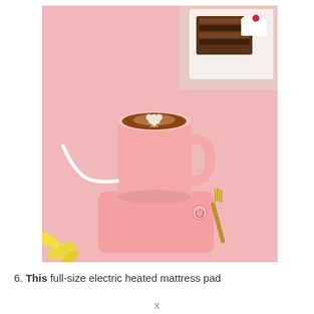[Figure (photo): A pink ceramic mug filled with latte art (tulip/heart design in foam) sitting on a pink electric mug warmer/heating pad. In the upper right background there is a plate with chocolate cake slices and a white cup. A gold fork rests to the right of the warmer. A white power cable extends from the warmer to the left. Yellow flower petals visible in bottom left. Pink background surface.]
6. This full-size electric heated mattress pad
X